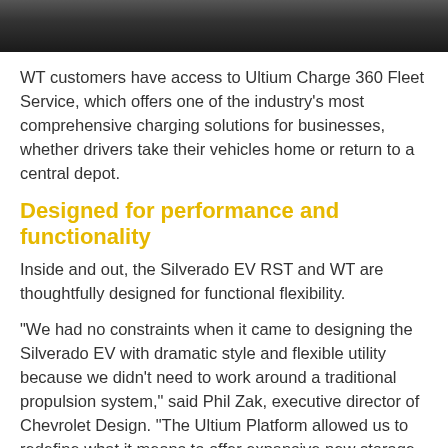[Figure (photo): Partial photograph of a vehicle, dark/shadowed crop at top of page]
WT customers have access to Ultium Charge 360 Fleet Service, which offers one of the industry’s most comprehensive charging solutions for businesses, whether drivers take their vehicles home or return to a central depot.
Designed for performance and functionality
Inside and out, the Silverado EV RST and WT are thoughtfully designed for functional flexibility.
“We had no constraints when it came to designing the Silverado EV with dramatic style and flexible utility because we didn’t need to work around a traditional propulsion system,” said Phil Zak, executive director of Chevrolet Design. “The Ultium Platform allowed us to redefine what it means to offer expansive new storage and utility possibilities.”
Exterior proportions and surfacing convey the truck’s